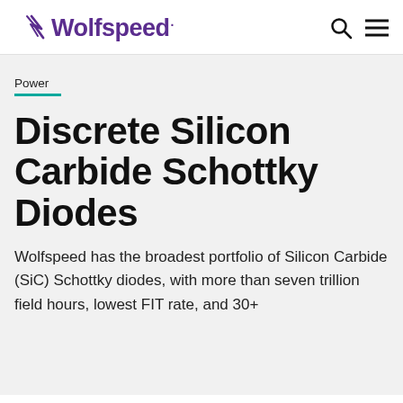Wolfspeed.
Power
Discrete Silicon Carbide Schottky Diodes
Wolfspeed has the broadest portfolio of Silicon Carbide (SiC) Schottky diodes, with more than seven trillion field hours, lowest FIT rate, and 30+